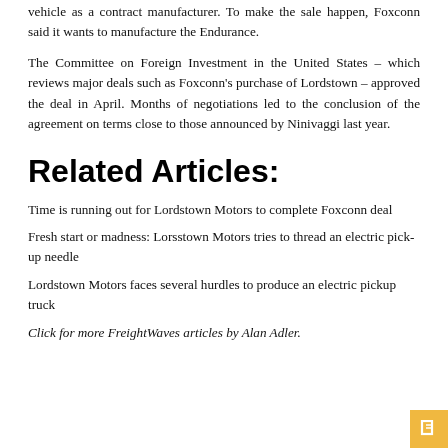vehicle as a contract manufacturer. To make the sale happen, Foxconn said it wants to manufacture the Endurance.
The Committee on Foreign Investment in the United States – which reviews major deals such as Foxconn’s purchase of Lordstown – approved the deal in April. Months of negotiations led to the conclusion of the agreement on terms close to those announced by Ninivaggi last year.
Related Articles:
Time is running out for Lordstown Motors to complete Foxconn deal
Fresh start or madness: Lorsstown Motors tries to thread an electric pick-up needle
Lordstown Motors faces several hurdles to produce an electric pickup truck
Click for more FreightWaves articles by Alan Adler.